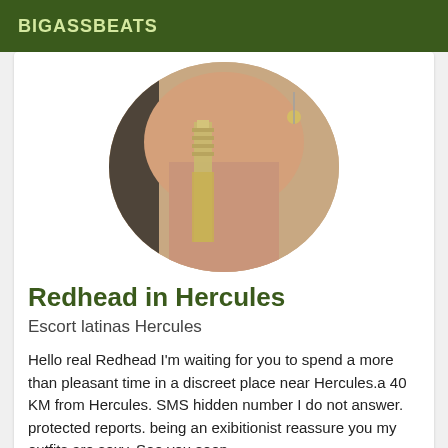BIGASSBEATS
[Figure (photo): Circular cropped photo showing a person's midsection with gold chain jewelry and sandals]
Redhead in Hercules
Escort latinas Hercules
Hello real Redhead I'm waiting for you to spend a more than pleasant time in a discreet place near Hercules.a 40 KM from Hercules. SMS hidden number I do not answer. protected reports. being an exibitionist reassure you my outfits are sexy. See you soon
[Figure (photo): Colorful patterned fabric with red, blue, gold paisley/mandala design visible at bottom of page]